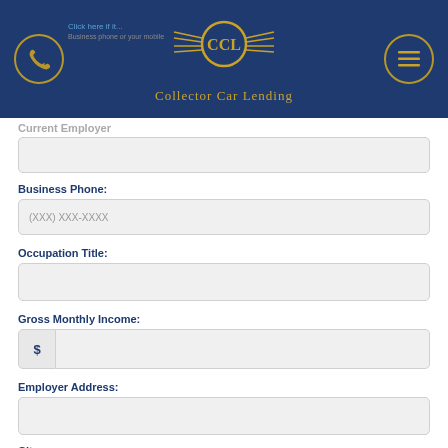[Figure (logo): Collector Car Lending logo with gold CCL emblem and wings on dark navy background, with phone icon circle on left and hamburger menu icon circle on right]
Current Employer
Business Phone:
(XXX) XXX-XXXX
Occupation Title:
Gross Monthly Income:
$ (input field)
Employer Address:
City: